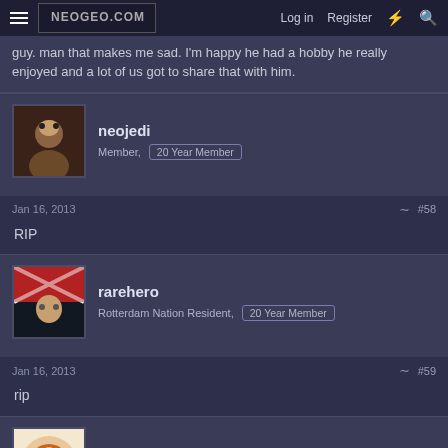Log in  Register
guy. man that makes me sad. I'm happy he had a hobby he really enjoyed and a lot of us got to share that with him.
neojedi
Member, 20 Year Member
Jan 16, 2013  #58
RIP
rarehero
Rotterdam Nation Resident, 20 Year Member
Jan 16, 2013  #59
rip
TurboCro
AESwipe,